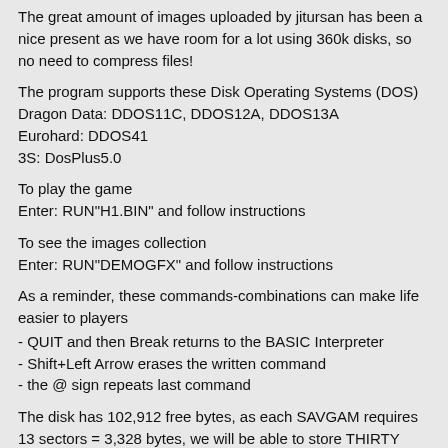The great amount of images uploaded by jitursan has been a nice present as we have room for a lot using 360k disks, so no need to compress files!
The program supports these Disk Operating Systems (DOS)
Dragon Data: DDOS11C, DDOS12A, DDOS13A
Eurohard: DDOS41
3S: DosPlus5.0
To play the game
Enter: RUN"H1.BIN" and follow instructions
To see the images collection
Enter: RUN"DEMOGFX" and follow instructions
As a reminder, these commands-combinations can make life easier to players
- QUIT and then Break returns to the BASIC Interpreter
- Shift+Left Arrow erases the written command
- the @ sign repeats last command
The disk has 102,912 free bytes, as each SAVGAM requires 13 sectors = 3,328 bytes, we will be able to store THIRTY snapshots!
cheers
pere serrat